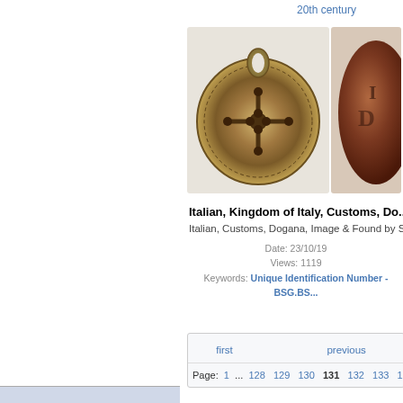20th century
[Figure (photo): Two views of an Italian Kingdom of Italy Customs (Dogana) lead seal. Left: circular seal with ornate cross and floral design in golden-brown patina. Right: partial view of another seal showing worn surface with letters.]
Italian, Kingdom of Italy, Customs, Do...
Italian, Customs, Dogana, Image & Found by Stua...
Date: 23/10/19
Views: 1119
Keywords: Unique Identification Number - BSG.BS...
| first | previous |
| --- | --- |
| Page: 1 ... 128 129 130 131 132 133 134 ... |